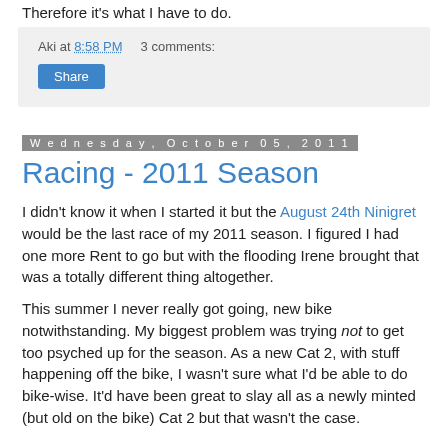Therefore it's what I have to do.
Aki at 8:58 PM    3 comments:
Share
Wednesday, October 05, 2011
Racing - 2011 Season
I didn't know it when I started it but the August 24th Ninigret would be the last race of my 2011 season. I figured I had one more Rent to go but with the flooding Irene brought that was a totally different thing altogether.
This summer I never really got going, new bike notwithstanding. My biggest problem was trying not to get too psyched up for the season. As a new Cat 2, with stuff happening off the bike, I wasn't sure what I'd be able to do bike-wise. It'd have been great to slay all as a newly minted (but old on the bike) Cat 2 but that wasn't the case.